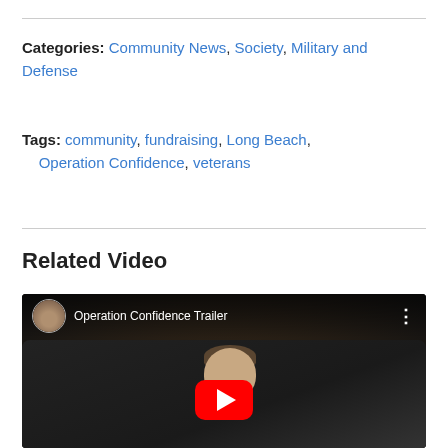Categories: Community News, Society, Military and Defense
Tags: community, fundraising, Long Beach, Operation Confidence, veterans
Related Video
[Figure (other): Embedded YouTube video thumbnail showing 'Operation Confidence Trailer' with a man seated in a black leather chair, dark scene, red YouTube play button overlay, channel avatar in top left, title text 'Operation Confidence Trailer' in white, and three-dot menu in top right.]